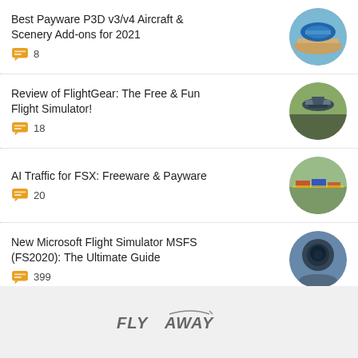Best Payware P3D v3/v4 Aircraft & Scenery Add-ons for 2021 — 8 comments
Review of FlightGear: The Free & Fun Flight Simulator! — 18 comments
AI Traffic for FSX: Freeware & Payware — 20 comments
New Microsoft Flight Simulator MSFS (FS2020): The Ultimate Guide — 399 comments
FLY AWAY